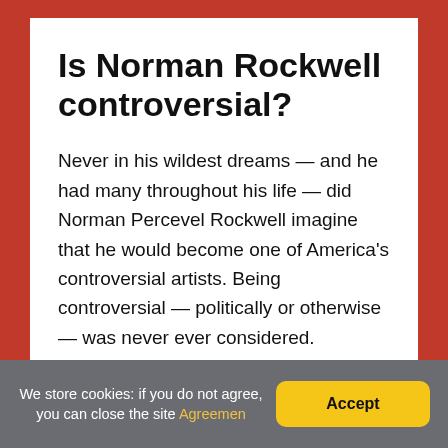Is Norman Rockwell controversial?
Never in his wildest dreams — and he had many throughout his life — did Norman Percevel Rockwell imagine that he would become one of America's controversial artists. Being controversial — politically or otherwise — was never ever considered.
How did Rockwell's style change in the 60s?
We store cookies: if you do not agree, you can close the site Agreemen